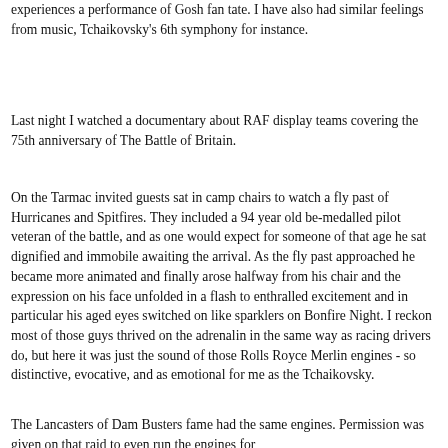experiences a performance of Gosh fan tate. I have also had similar feelings from music, Tchaikovsky's 6th symphony for instance.
Last night I watched a documentary about RAF display teams covering the 75th anniversary of The Battle of Britain.
On the Tarmac invited guests sat in camp chairs to watch a fly past of Hurricanes and Spitfires. They included a 94 year old be-medalled pilot veteran of the battle, and as one would expect for someone of that age he sat dignified and immobile awaiting the arrival. As the fly past approached he became more animated and finally arose halfway from his chair and the expression on his face unfolded in a flash to enthralled excitement and in particular his aged eyes switched on like sparklers on Bonfire Night.  I reckon most of those guys thrived on the adrenalin in the same way as racing drivers do, but here it was just the sound of those Rolls Royce Merlin engines - so distinctive, evocative, and as emotional for me as the Tchaikovsky.
The Lancasters of Dam Busters fame had the same engines. Permission was given on that raid to even run the engines for